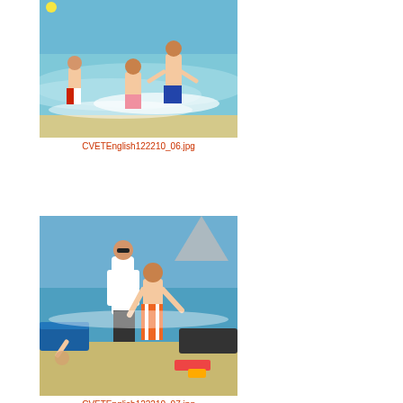[Figure (photo): Beach scene with people in ocean waves, one person in red/white board shorts on left, two people further in the water, waves crashing]
CVETEnglish122210_06.jpg
[Figure (photo): Beach scene with man in white shirt and younger person in orange/white striped board shorts on sandy beach with ocean and lounge chairs in background]
CVETEnglish122210_07.jpg